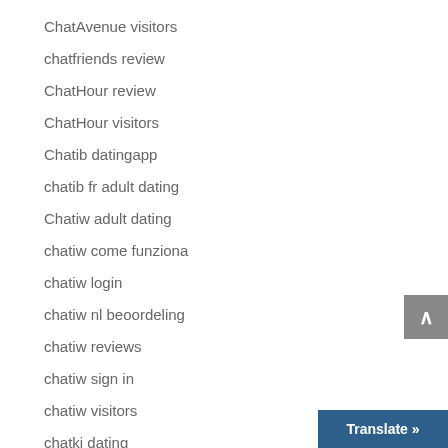ChatAvenue visitors
chatfriends review
ChatHour review
ChatHour visitors
Chatib datingapp
chatib fr adult dating
Chatiw adult dating
chatiw come funziona
chatiw login
chatiw nl beoordeling
chatiw reviews
chatiw sign in
chatiw visitors
chatki dating
chatki reddit